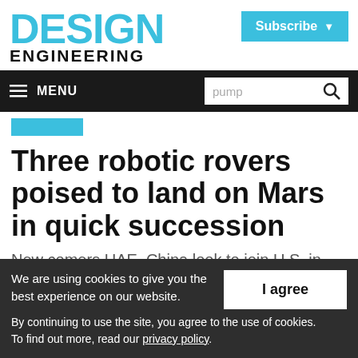DESIGN ENGINEERING
Subscribe
MENU  pump [search]
Three robotic rovers poised to land on Mars in quick succession
New comers UAE, China look to join U.S. in
We are using cookies to give you the best experience on our website. By continuing to use the site, you agree to the use of cookies. To find out more, read our privacy policy.
I agree